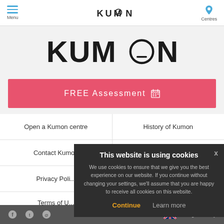Menu | KUMON | Centres
[Figure (logo): Large Kumon logo centered on light grey background]
FREE Assessment 🗓
Open a Kumon centre
History of Kumon
Contact Kumon
Media Room
Privacy Poli...
Terms of U...
This website is using cookies
We use cookies to ensure that we give you the best experience on our website. If you continue without changing your settings, we'll assume that you are happy to receive all cookies on this website.
Continue | Learn more
Facebook | Twitter | Email | Change Country